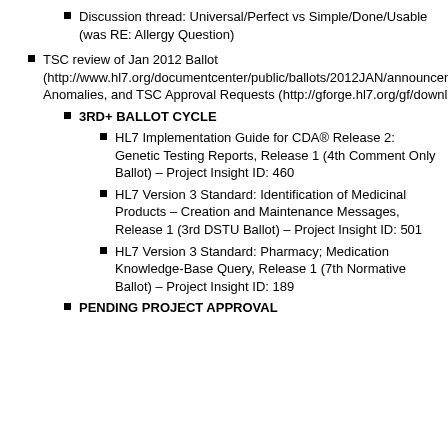Discussion thread: Universal/Perfect vs Simple/Done/Usable (was RE: Allergy Question)
TSC review of Jan 2012 Ballot (http://www.hl7.org/documentcenter/public/ballots/2012JAN/announcements/Formation%20of%20Ballot%20Pools%20for%20January%202012%20Ballot%20Cycle.pdf) Anomalies, and TSC Approval Requests (http://gforge.hl7.org/gf/download/trackeritem/2114/8885/TSCBallotApprovalsforJanuary2012.docx)
3RD+ BALLOT CYCLE
HL7 Implementation Guide for CDA® Release 2: Genetic Testing Reports, Release 1 (4th Comment Only Ballot) – Project Insight ID: 460
HL7 Version 3 Standard: Identification of Medicinal Products – Creation and Maintenance Messages, Release 1 (3rd DSTU Ballot) – Project Insight ID: 501
HL7 Version 3 Standard: Pharmacy; Medication Knowledge-Base Query, Release 1 (7th Normative Ballot) – Project Insight ID: 189
PENDING PROJECT APPROVAL